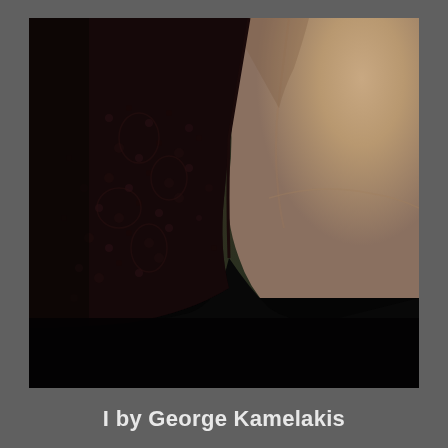[Figure (photo): Close-up photograph of a woman wearing a black lace top with deep V-neckline, showing her neck and collarbone against a dark floral background. The black lace sleeve/bodice detail is prominent on the left side.]
I by George Kamelakis